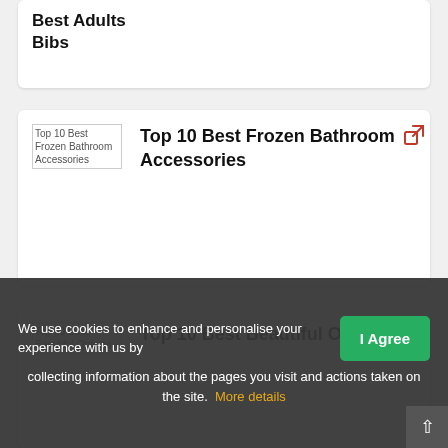Best Adults Bibs
Top 10 Best Frozen Bathroom Accessories
Top 10 Best Beautiful Options
We use cookies to enhance and personalise your experience with us by collecting information about the pages you visit and actions taken on the site. More details